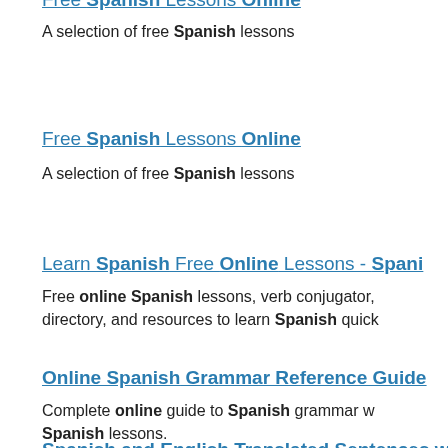Free Spanish Lessons Online
A selection of free Spanish lessons
Free Spanish Lessons Online
A selection of free Spanish lessons
Learn Spanish Free Online Lessons - Spani…
Free online Spanish lessons, verb conjugator, directory, and resources to learn Spanish quick…
Online Spanish Grammar Reference Guide
Complete online guide to Spanish grammar w… Spanish lessons.
Spanish and English Translated Sentences w…